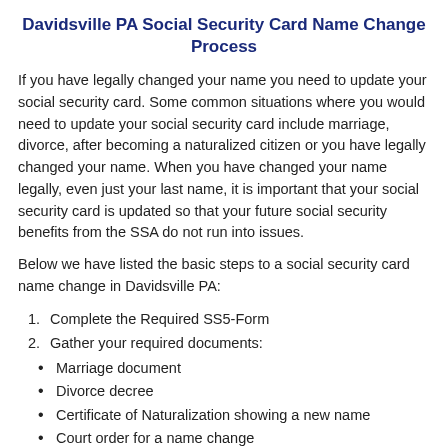Davidsville PA Social Security Card Name Change Process
If you have legally changed your name you need to update your social security card. Some common situations where you would need to update your social security card include marriage, divorce, after becoming a naturalized citizen or you have legally changed your name. When you have changed your name legally, even just your last name, it is important that your social security card is updated so that your future social security benefits from the SSA do not run into issues.
Below we have listed the basic steps to a social security card name change in Davidsville PA:
1. Complete the Required SS5-Form
2. Gather your required documents:
Marriage document
Divorce decree
Certificate of Naturalization showing a new name
Court order for a name change
Note: If your documents don't provide adequate personal...